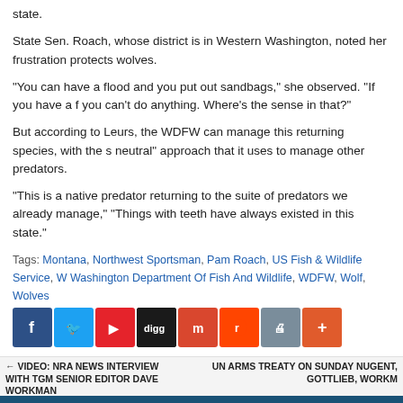state.
State Sen. Roach, whose district is in Western Washington, noted her frustration protects wolves.
“You can have a flood and you put out sandbags,” she observed. “If you have a f you can’t do anything. Where’s the sense in that?”
But according to Leurs, the WDFW can manage this returning species, with the s neutral” approach that it uses to manage other predators.
“This is a native predator returning to the suite of predators we already manage,” “Things with teeth have always existed in this state.”
Tags: Montana, Northwest Sportsman, Pam Roach, US Fish & Wildlife Service, W Washington Department Of Fish And Wildlife, WDFW, Wolf, Wolves
[Figure (infographic): Social sharing buttons: Facebook, Twitter, Flipboard, Digg, Mix, Reddit, Print, Plus]
← VIDEO: NRA NEWS INTERVIEW WITH TGM SENIOR EDITOR DAVE WORKMAN | UN ARMS TREATY ON SUNDAY NUGENT, GOTTLIEB, WORKM